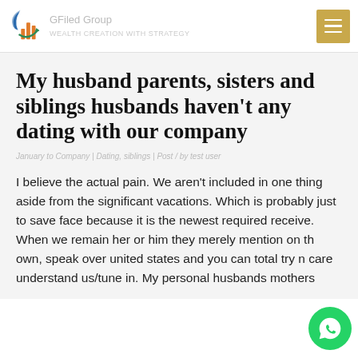GFiled Group — logo and navigation header
My husband parents, sisters and siblings husbands haven't any dating with our company
January to Company | Dating, siblings | Post / by test user
I believe the actual pain. We aren't included in one thing aside from the significant vacations. Which is probably just to save face because it is the newest required receive. When we remain her or him they merely mention on their own, speak over united states and you can total try not care understand us/tune in. My personal husbands mothers